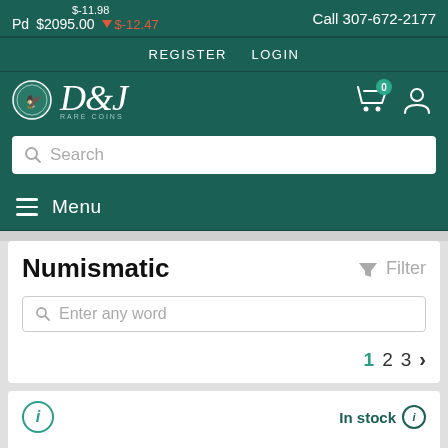$-11.98  Pd  $2095.00  ▼ $-12.47  Call 307-672-2177
REGISTER  LOGIN
[Figure (logo): D&J Rare Coins logo with coin medallion]
Search
Menu
Numismatic
Filter
Enter any word
1  2  3  >
In stock
[Figure (photo): Coin photo partially visible at bottom]